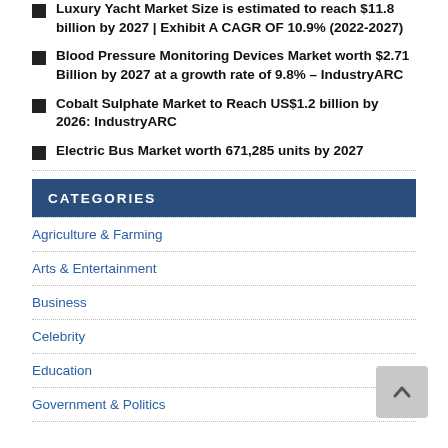Luxury Yacht Market Size is estimated to reach $11.8 billion by 2027 | Exhibit A CAGR OF 10.9% (2022-2027)
Blood Pressure Monitoring Devices Market worth $2.71 Billion by 2027 at a growth rate of 9.8% – IndustryARC
Cobalt Sulphate Market to Reach US$1.2 billion by 2026: IndustryARC
Electric Bus Market worth 671,285 units by 2027
CATEGORIES
Agriculture & Farming
Arts & Entertainment
Business
Celebrity
Education
Government & Politics